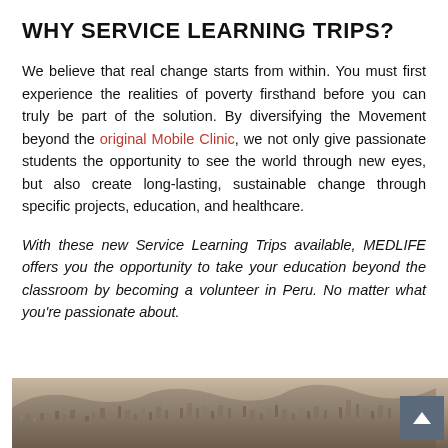WHY SERVICE LEARNING TRIPS?
We believe that real change starts from within. You must first experience the realities of poverty firsthand before you can truly be part of the solution. By diversifying the Movement beyond the original Mobile Clinic, we not only give passionate students the opportunity to see the world through new eyes, but also create long-lasting, sustainable change through specific projects, education, and healthcare.
With these new Service Learning Trips available, MEDLIFE offers you the opportunity to take your education beyond the classroom by becoming a volunteer in Peru. No matter what you're passionate about.
[Figure (photo): Aerial view of a densely populated hillside settlement, likely a shantytown or informal housing area in Peru, with many small structures visible against a hilly landscape.]